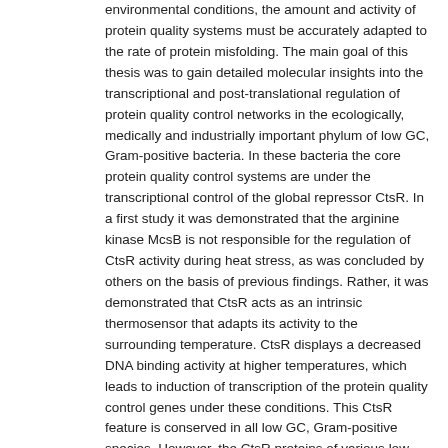environmental conditions, the amount and activity of protein quality systems must be accurately adapted to the rate of protein misfolding. The main goal of this thesis was to gain detailed molecular insights into the transcriptional and post-translational regulation of protein quality control networks in the ecologically, medically and industrially important phylum of low GC, Gram-positive bacteria. In these bacteria the core protein quality control systems are under the transcriptional control of the global repressor CtsR. In a first study it was demonstrated that the arginine kinase McsB is not responsible for the regulation of CtsR activity during heat stress, as was concluded by others on the basis of previous findings. Rather, it was demonstrated that CtsR acts as an intrinsic thermosensor that adapts its activity to the surrounding temperature. CtsR displays a decreased DNA binding activity at higher temperatures, which leads to induction of transcription of the protein quality control genes under these conditions. This CtsR feature is conserved in all low GC, Gram-positive species. However, the CtsR proteins of various low GC, Gram-positive species do not have identical temperature optima. CtsR responds to heat in a species-specific manner according to the corresponding growth temperature. Detailed analysis revealed that a highly conserved glycine loop within the winged helix-turn-helix domain of CtsR is responsible for thermosensing. Dual control of CtsR activity during different stresses was demonstrated for the first time in this work. In addition to heat-dependent de-repression, CtsR is inactivated under thiol-specific stress conditions. This latter de-repression depends on a molecular redox switch that is independent of CtsR auto-regulation. In Bacillus subtilis and its close relatives, the McsA/McsB stress-sensing complex is responsible for CtsR de-repression during thiol stress conditions. McsA is able to sense the redox state of the cell via its highly reactive cysteine residues. When these cysteines are reduced, McsA is able to bind and inhibit McsB. But when these cysteine residues are oxidized, McsB is released from McsA. The active McsB is activated and removes CtsR from the DNA. However, the McsA/McsB complex is not conserved in all low GC, Gram-positive bacteria. In the species lacking this complex, CtsR is directly